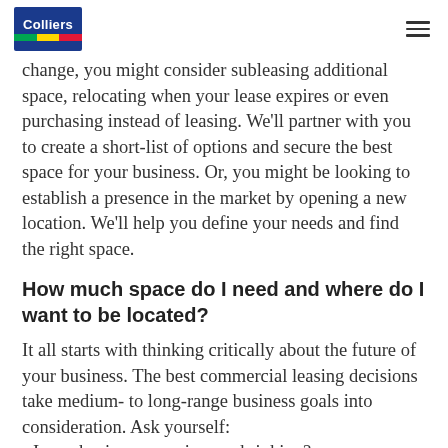Colliers
change, you might consider subleasing additional space, relocating when your lease expires or even purchasing instead of leasing. We'll partner with you to create a short-list of options and secure the best space for your business. Or, you might be looking to establish a presence in the market by opening a new location. We'll help you define your needs and find the right space.
How much space do I need and where do I want to be located?
It all starts with thinking critically about the future of your business. The best commercial leasing decisions take medium- to long-range business goals into consideration. Ask yourself:
Is my business growing or shrinking?